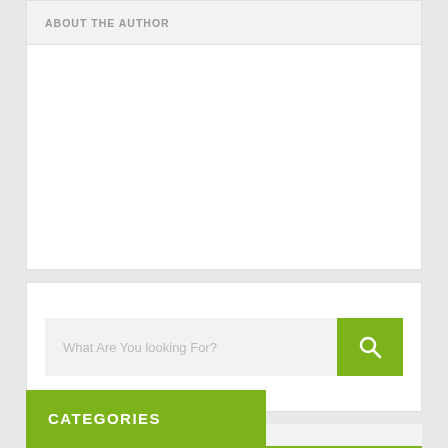ABOUT THE AUTHOR
[Figure (other): Blank white content box for about the author section]
What Are You looking For?
CATEGORIES
Entertainment